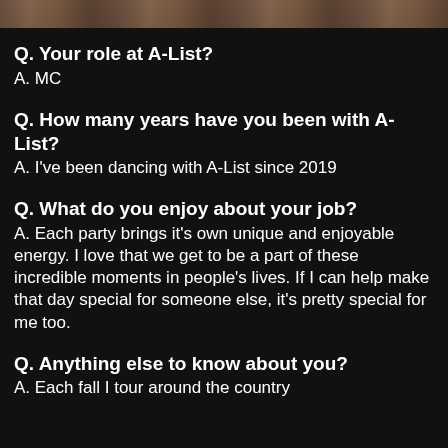[Figure (photo): Partial photo of a person, cropped at top of page, dark/warm tones]
Q. Your role at A-List?
A. MC
Q. How many years have you been with A-List?
A. I've been dancing with A-List since 2019
Q. What do you enjoy about your job?
A. Each party brings it's own unique and enjoyable energy. I love that we get to be a part of these incredible moments in people's lives. If I can help make that day special for someone else, it's pretty special for me too.
Q. Anything else to know about you?
A. Each fall I tour around the country